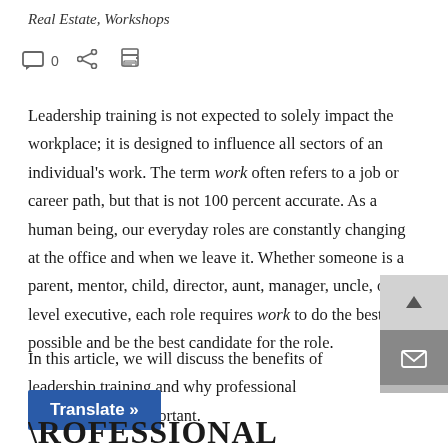Real Estate, Workshops
[Figure (infographic): Icon row with comment bubble (0), share icon, and print icon]
Leadership training is not expected to solely impact the workplace; it is designed to influence all sectors of an individual's work. The term work often refers to a job or career path, but that is not 100 percent accurate. As a human being, our everyday roles are constantly changing at the office and when we leave it. Whether someone is a parent, mentor, child, director, aunt, manager, uncle, or C-level executive, each role requires work to do the best job possible and be the best candidate for the role.
In this article, we will discuss the benefits of leadership training and why professional development is important.
[Figure (screenshot): Translate button (blue) and partial large bold text 'ROFESSIONAL' visible at bottom]
[Figure (other): Scroll bar with up arrow and mail/envelope icon on right side]